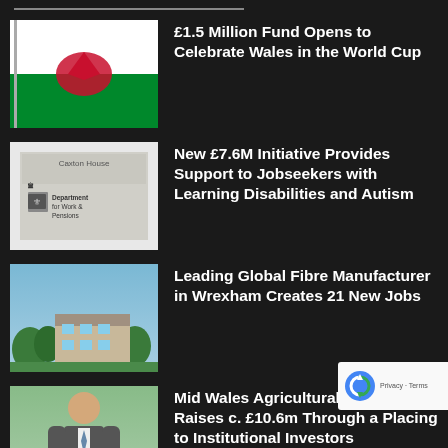£1.5 Million Fund Opens to Celebrate Wales in the World Cup
New £7.6M Initiative Provides Support to Jobseekers with Learning Disabilities and Autism
Leading Global Fibre Manufacturer in Wrexham Creates 21 New Jobs
Mid Wales Agricultural Group Raises c. £10.6m Through a Placing to Institutional Investors
Benefits of Zero-Hours Contracts Outweigh the Downside for Most Workers